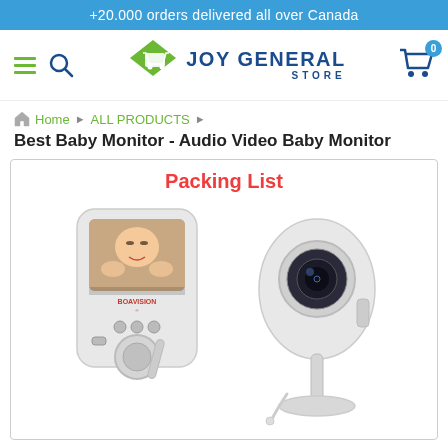+20.000 orders delivered all over Canada
[Figure (logo): Joy General Store navigation bar with hamburger menu, search icon, diamond-cart logo, and shopping cart with 0 badge]
Home ▶ ALL PRODUCTS ▶
Best Baby Monitor - Audio Video Baby Monitor
[Figure (photo): Packing List image showing a baby monitor handset (BOAVISION brand) with a baby displayed on screen, and a separate camera unit on a stand, both white in color]